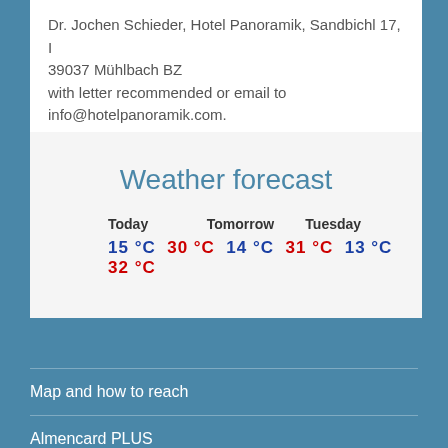Dr. Jochen Schieder, Hotel Panoramik, Sandbichl 17, I 39037 Mühlbach BZ with letter recommended or email to info@hotelpanoramik.com.
Weather forecast
Today   Tomorrow   Tuesday
15 °C 30 °C 14 °C 31 °C 13 °C 32 °C
Map and how to reach
Almencard PLUS
Almenpost